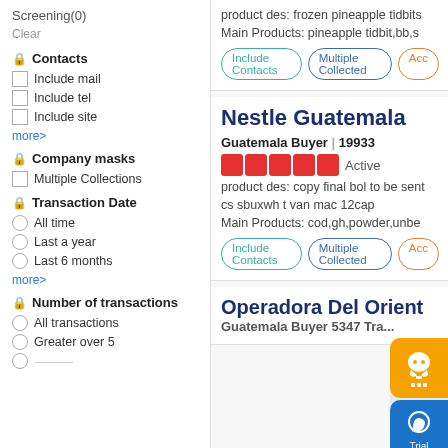Screening(0)
Clear
🔒 Contacts
Include mail
Include tel
Include site
more>
🔒 Company masks
Multiple Collections
🔒 Transaction Date
All time
Last a year
Last 6 months
more>
🔒 Number of transactions
All transactions
Greater over 5
product des: frozen pineapple tidbits
Main Products: pineapple tidbit,bb,s
[Figure (other): Include Contacts, Multiple Collected, Acc buttons]
Nestle Guatemala
Guatemala Buyer | 19933
[Figure (other): 5 red star rating, Active label]
product des: copy final bol to be sent cs sbuxwh t van mac 12cap
Main Products: cod,gh,powder,unbe
[Figure (other): Include Contacts, Multiple Collected, Acc buttons]
Operadora Del Orient
Guatemala Buyer 5347 Tra...